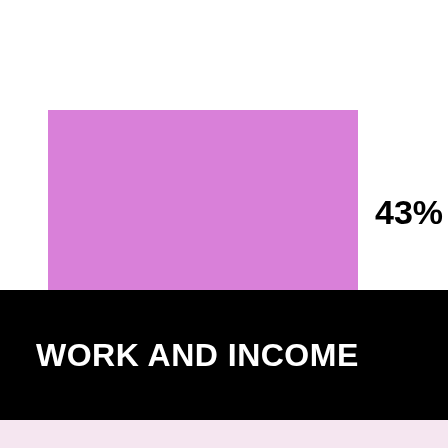[Figure (bar-chart): ]
WORK AND INCOME